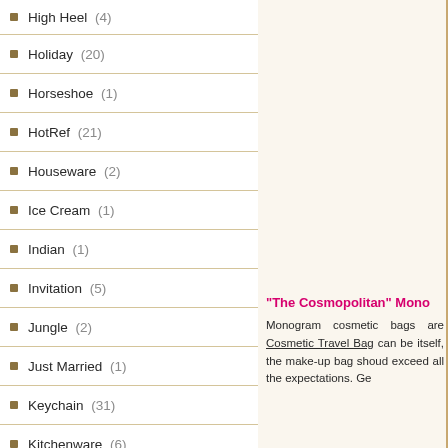Holiday (20)
Horseshoe (1)
HotRef (21)
Houseware (2)
Ice Cream (1)
Indian (1)
Invitation (5)
Jungle (2)
Just Married (1)
Keychain (31)
Kitchenware (6)
Lantern (3)
Las Vegas (2)
Letter opener (1)
Little Prince (1)
Love (23)
Love Bird (2)
"The Cosmopolitan" Mono... Monogram cosmetic bags are... Cosmetic Travel Bag can be... itself, the make-up bag should... exceed all the expectations. Ge...